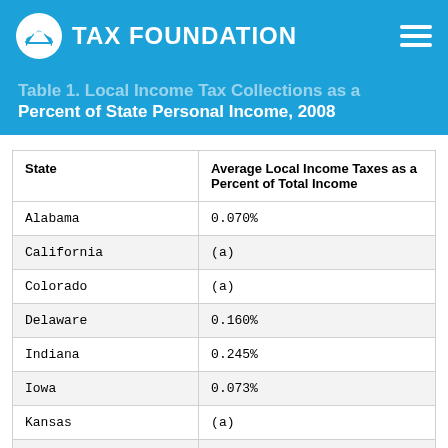TAX FOUNDATION
Table 1. Local Income Tax Collections as a Percent of State Personal Income, 2008
| State | Average Local Income Taxes as a Percent of Total Income |
| --- | --- |
| Alabama | 0.070% |
| California | (a) |
| Colorado | (a) |
| Delaware | 0.160% |
| Indiana | 0.245% |
| Iowa | 0.073% |
| Kansas | (a) |
| Kentucky | 0.759% |
| Maryland | 1.547% |